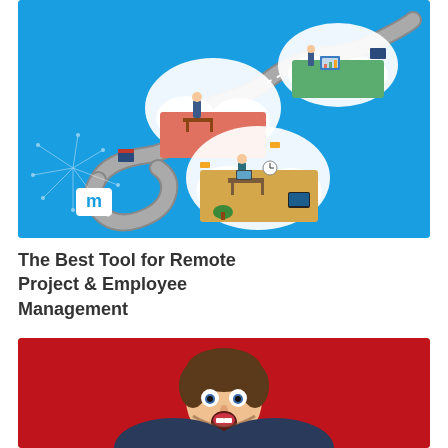[Figure (illustration): Blue background infographic illustration showing a winding road connecting cloud shapes with isometric scenes inside them depicting remote work environments. A logo with letter M in white on blue background is in the bottom-left along with a star network diagram.]
The Best Tool for Remote Project & Employee Management
[Figure (photo): Red background photo showing a young man with beard and surprised/shocked expression, mouth open and eyes wide.]